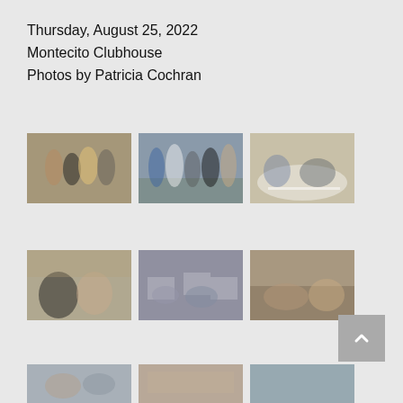Thursday, August 25, 2022
Montecito Clubhouse
Photos by Patricia Cochran
[Figure (photo): Group of people standing together indoors at Montecito Clubhouse event]
[Figure (photo): Group of people standing together indoors at Montecito Clubhouse event]
[Figure (photo): People seated around round tables at Montecito Clubhouse event]
[Figure (photo): Two women posing at Montecito Clubhouse event]
[Figure (photo): Large room with many people seated at tables at Montecito Clubhouse]
[Figure (photo): People seated at tables at Montecito Clubhouse event]
[Figure (photo): People at Montecito Clubhouse event - partial view]
[Figure (photo): People at Montecito Clubhouse event - partial view]
[Figure (photo): Outdoor or window view at Montecito Clubhouse event]